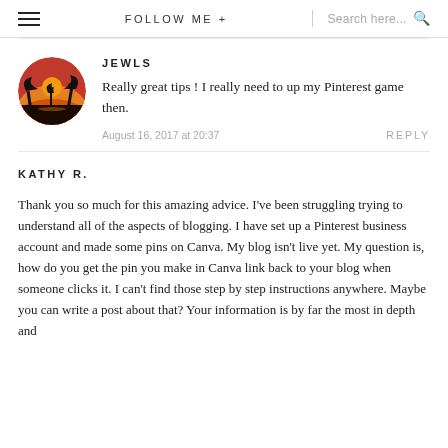FOLLOW ME +  Search here...
JEWLS
Really great tips ! I really need to up my Pinterest game then.
August 16, 2017 at 20:37
REPLY
KATHY R.
Thank you so much for this amazing advice. I've been struggling trying to understand all of the aspects of blogging. I have set up a Pinterest business account and made some pins on Canva. My blog isn't live yet. My question is, how do you get the pin you make in Canva link back to your blog when someone clicks it. I can't find those step by step instructions anywhere. Maybe you can write a post about that? Your information is by far the most in depth and